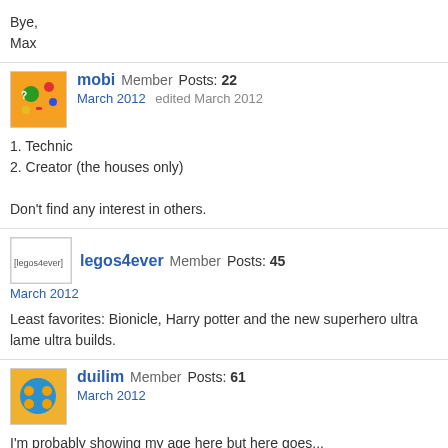Bye,
Max
mobi Member Posts: 22
March 2012   edited March 2012
1. Technic
2. Creator (the houses only)
Don't find any interest in others.
legos4ever Member Posts: 45
March 2012
Least favorites: Bionicle, Harry potter and the new superhero ultra lame ultra builds.
duilim Member Posts: 61
March 2012
I'm probably showing my age here but here goes...
My top three;
1. Classic Pirates - from the late 80's and early 90's. The Black Seas Barracuda and Eldorado Fortress remain two of my favorite sets to date.